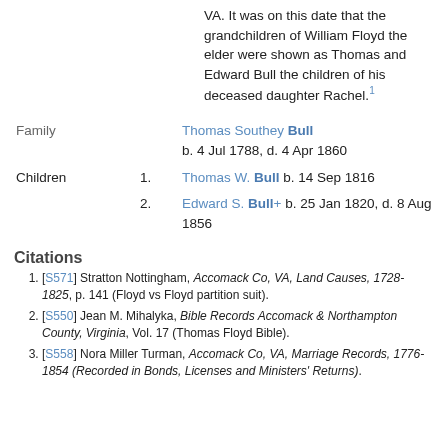VA. It was on this date that the grandchildren of William Floyd the elder were shown as Thomas and Edward Bull the children of his deceased daughter Rachel.[1]
Family  Thomas Southey Bull b. 4 Jul 1788, d. 4 Apr 1860
Children  1. Thomas W. Bull b. 14 Sep 1816
2. Edward S. Bull+ b. 25 Jan 1820, d. 8 Aug 1856
Citations
1. [S571] Stratton Nottingham, Accomack Co, VA, Land Causes, 1728-1825, p. 141 (Floyd vs Floyd partition suit).
2. [S550] Jean M. Mihalyka, Bible Records Accomack & Northampton County, Virginia, Vol. 17 (Thomas Floyd Bible).
3. [S558] Nora Miller Turman, Accomack Co, VA, Marriage Records, 1776-1854 (Recorded in Bonds, Licenses and Ministers' Returns).